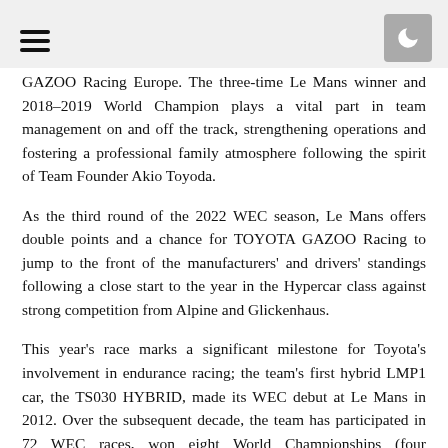[hamburger menu] [dark mode toggle]
GAZOO Racing Europe. The three-time Le Mans winner and 2018-2019 World Champion plays a vital part in team management on and off the track, strengthening operations and fostering a professional family atmosphere following the spirit of Team Founder Akio Toyoda.
As the third round of the 2022 WEC season, Le Mans offers double points and a chance for TOYOTA GAZOO Racing to jump to the front of the manufacturers' and drivers' standings following a close start to the year in the Hypercar class against strong competition from Alpine and Glickenhaus.
This year's race marks a significant milestone for Toyota's involvement in endurance racing; the team's first hybrid LMP1 car, the TS030 HYBRID, made its WEC debut at Le Mans in 2012. Over the subsequent decade, the team has participated in 72 WEC races, won eight World Championships (four manufacturers' and four drivers'),